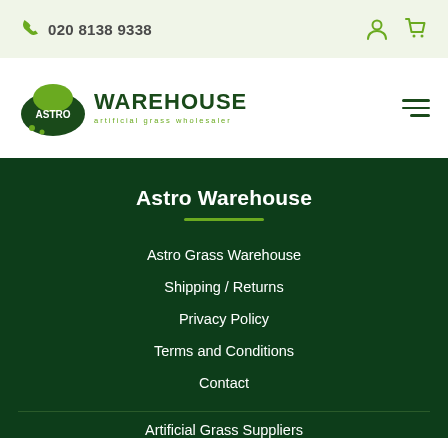020 8138 9338
[Figure (logo): Astro Warehouse artificial grass wholesaler logo with green oval shape]
Astro Warehouse
Astro Grass Warehouse
Shipping / Returns
Privacy Policy
Terms and Conditions
Contact
Artificial Grass Suppliers